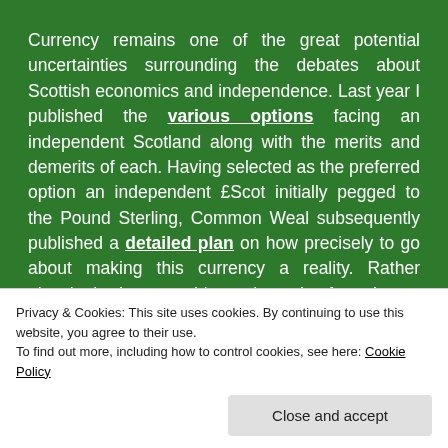Currency remains one of the great potential uncertainties surrounding the debates about Scottish economics and independence. Last year I published the various options facing an independent Scotland along with the merits and demerits of each. Having selected as the preferred option an independent £Scot initially pegged to the Pound Sterling, Common Weal subsequently published a detailed plan on how precisely to go about making this currency a reality. Rather pleasingly, the news this week coming from the Scottish Government's Growth Commission is that...
Privacy & Cookies: This site uses cookies. By continuing to use this website, you agree to their use.
To find out more, including how to control cookies, see here: Cookie Policy